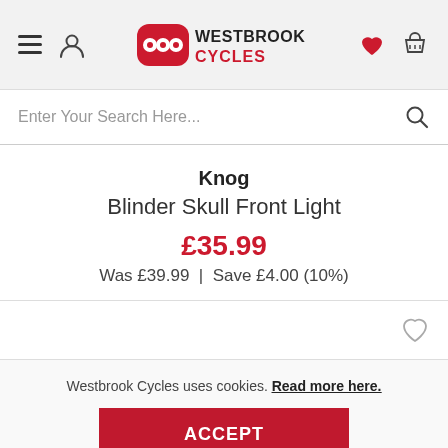Westbrook Cycles header with navigation, logo, wishlist and basket icons
Enter Your Search Here...
Knog
Blinder Skull Front Light
£35.99
Was £39.99  |  Save £4.00 (10%)
Westbrook Cycles uses cookies. Read more here.
ACCEPT